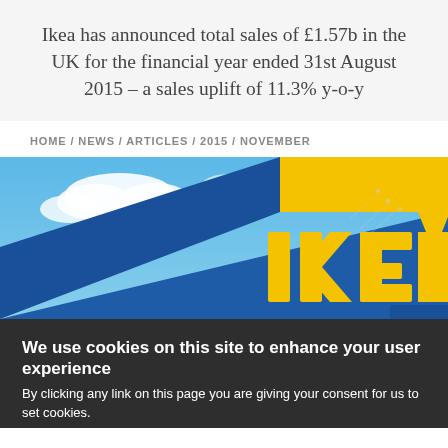Ikea has announced total sales of £1.57b in the UK for the financial year ended 31st August 2015 – a sales uplift of 11.3% y-o-y
HOME / NEWS / ARTICLES / 2015 / NOVEMBER
[Figure (photo): IKEA store exterior photographed from below against a blue sky with white clouds; the blue building with yellow IKEA letters is visible at an angle]
We use cookies on this site to enhance your user experience
By clicking any link on this page you are giving your consent for us to set cookies.